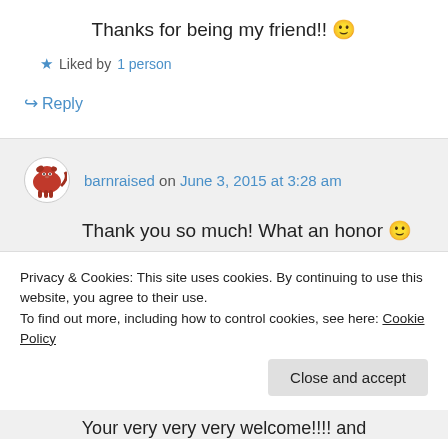Thanks for being my friend!! 🙂
★ Liked by 1 person
↪ Reply
barnraised on June 3, 2015 at 3:28 am
Thank you so much! What an honor 🙂 And congrats to you!
★ Liked by 1 person
Privacy & Cookies: This site uses cookies. By continuing to use this website, you agree to their use.
To find out more, including how to control cookies, see here: Cookie Policy
Close and accept
Your very very very welcome!!!! and